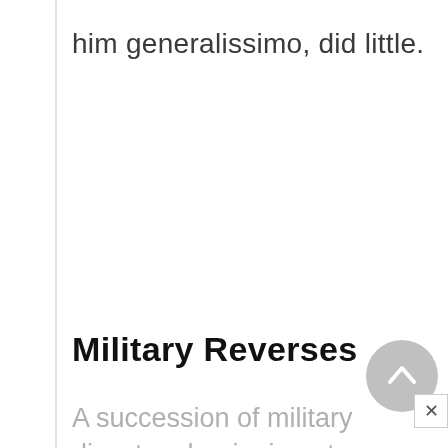him generalissimo, did little.
Military Reverses
A succession of military disasters beginning at Valladolid late in 1813